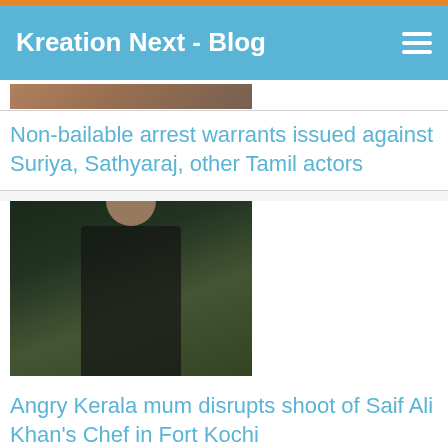Kreation Next - Blog
[Figure (photo): Partial image of Tamil actors at top of page (cropped)]
Non-bailable arrest warrants issued against Suriya, Sathyaraj, other Tamil actors
[Figure (photo): Photo of Saif Ali Khan in dark suit speaking]
Angry Kerala mum disrupts shoot of Saif Ali Khan's Chef in Fort Kochi
[Figure (photo): Photo of a man with Comodo Secure badge overlay]
[Figure (other): Message button - green button with alien/person icon and text Message]